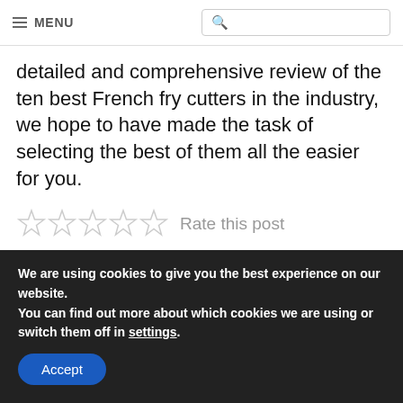MENU [search box]
detailed and comprehensive review of the ten best French fry cutters in the industry, we hope to have made the task of selecting the best of them all the easier for you.
Rate this post
[Figure (infographic): Social share buttons: Facebook (blue), Twitter (light blue), Pinterest (red), Email (grey)]
We are using cookies to give you the best experience on our website.
You can find out more about which cookies we are using or switch them off in settings.
Accept